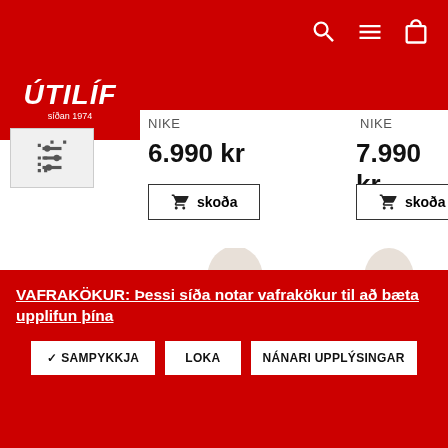ÚTILÍF síðan 1974
NIKE
6.990 kr
skoða
NIKE
7.990 kr
skoða
[Figure (screenshot): Two men wearing white Nike t-shirts, partially visible from the shoulders up]
VAFRAKÖKUR: Þessi síða notar vafrakökur til að bæta upplifun þína
✓ SAMPYKKJA   LOKA   NÁNARI UPPLÝSINGAR